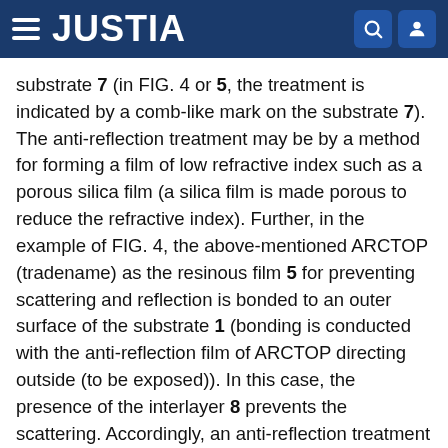JUSTIA
substrate 7 (in FIG. 4 or 5, the treatment is indicated by a comb-like mark on the substrate 7). The anti-reflection treatment may be by a method for forming a film of low refractive index such as a porous silica film (a silica film is made porous to reduce the refractive index). Further, in the example of FIG. 4, the above-mentioned ARCTOP (tradename) as the resinous film 5 for preventing scattering and reflection is bonded to an outer surface of the substrate 1 (bonding is conducted with the anti-reflection film of ARCTOP directing outside (to be exposed)). In this case, the presence of the interlayer 8 prevents the scattering. Accordingly, an anti-reflection treatment may be conducted directly onto an outer surface of the substrate 1 by means of a method for forming a film of low refractive index, instead of using the film 5.